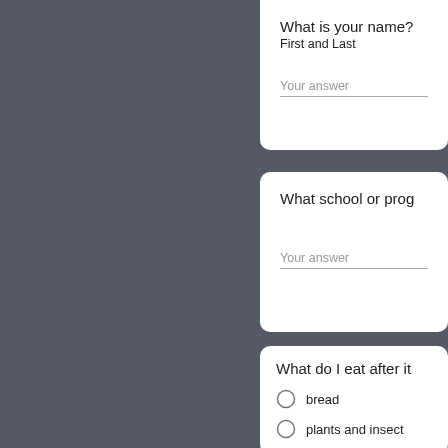What is your name?
First and Last
Your answer
What school or prog
Your answer
What do I eat after it
bread
plants and insect